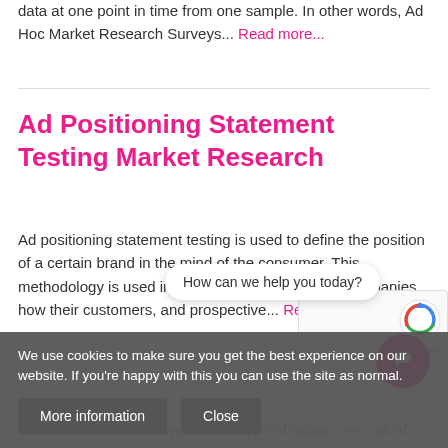data at one point in time from one sample. In other words, Ad Hoc Market Research Surveys... Read more...
Ad Positioning Statement Testing Market Research
Ad positioning statement testing is used to define the position of a certain brand in the mind of the consumer. This methodology is used in market research to show companies how their customers, and prospective... Read more...
We use cookies to make sure you get the best experience on our website. If you're happy with this you can use the site as normal.
How can we help you today?